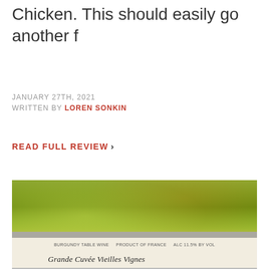Chicken.  This should easily go another f
JANUARY 27TH, 2021
WRITTEN BY LOREN SONKIN
READ FULL REVIEW ›
[Figure (photo): Close-up photograph of a wine bottle showing the green glass body and a white label reading 'BURGUNDY TABLE WINE  PRODUCT OF FRANCE  ALC 11.5% BY VOL' and 'Grande Cuvée Vieilles Vignes' in cursive script.]